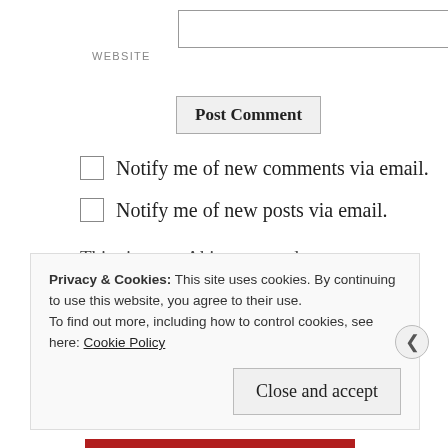[Figure (screenshot): Website input field, a text box form element]
WEBSITE
[Figure (screenshot): Post Comment button]
Notify me of new comments via email.
Notify me of new posts via email.
This site uses Akismet to reduce spam. Learn how your comment data is processed.
Privacy & Cookies: This site uses cookies. By continuing to use this website, you agree to their use.
To find out more, including how to control cookies, see here: Cookie Policy
Close and accept